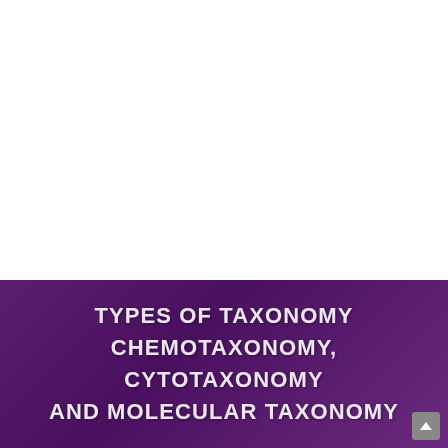TYPES OF TAXONOMY CHEMOTAXONOMY, CYTOTAXONOMY AND MOLECULAR TAXONOMY